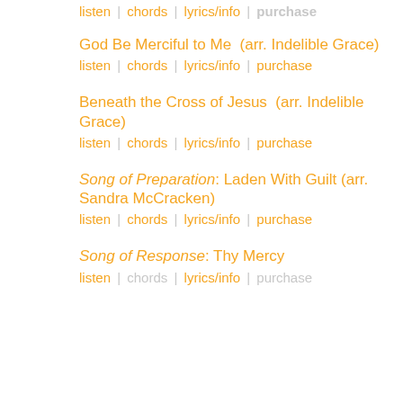listen | chords | lyrics/info | purchase
God Be Merciful to Me (arr. Indelible Grace)
listen | chords | lyrics/info | purchase
Beneath the Cross of Jesus (arr. Indelible Grace)
listen | chords | lyrics/info | purchase
Song of Preparation: Laden With Guilt (arr. Sandra McCracken)
listen | chords | lyrics/info | purchase
Song of Response: Thy Mercy
listen | chords | lyrics/info | purchase